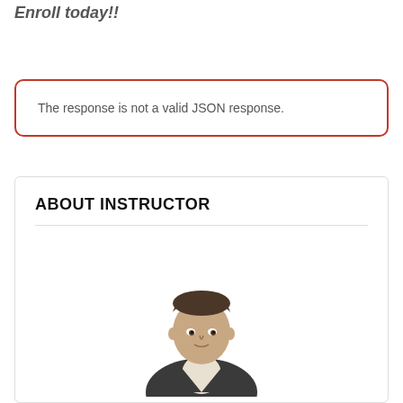Enroll today!!
The response is not a valid JSON response.
ABOUT INSTRUCTOR
[Figure (photo): Professional headshot of a young male instructor in a dark suit and white shirt, looking directly at the camera, upper body visible, neutral white background.]